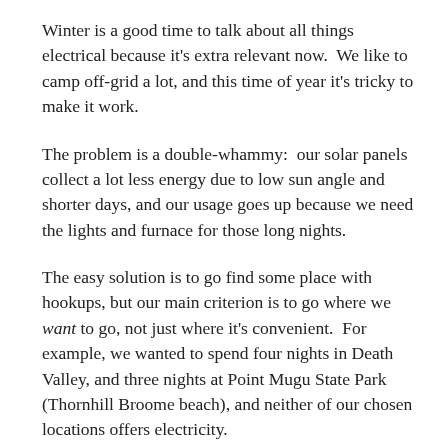Winter is a good time to talk about all things electrical because it's extra relevant now.  We like to camp off-grid a lot, and this time of year it's tricky to make it work.
The problem is a double-whammy:  our solar panels collect a lot less energy due to low sun angle and shorter days, and our usage goes up because we need the lights and furnace for those long nights.
The easy solution is to go find some place with hookups, but our main criterion is to go where we want to go, not just where it's convenient.  For example, we wanted to spend four nights in Death Valley, and three nights at Point Mugu State Park (Thornhill Broome beach), and neither of our chosen locations offers electricity.